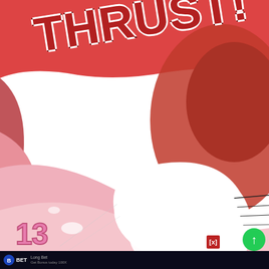[Figure (illustration): Manga/webtoon panel with pink and red abstract curved shapes and a bright white flash/impact in the center. The word THRUST! appears as large stylized text in the upper portion. Partial numbers are visible at the bottom left. An advertisement bar with BET branding and a close button [x] and green scroll-up button appear at the bottom.]
THRUST!
13
[x]
BET
BET  Long Bet